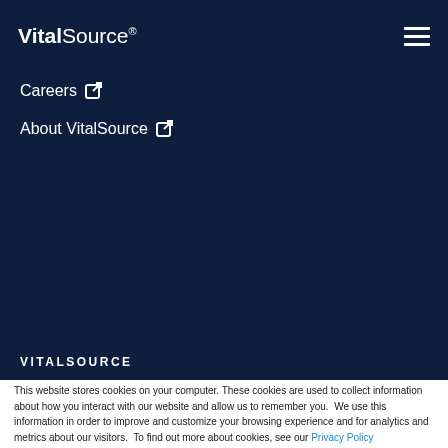[Figure (logo): VitalSource logo in white text on dark navy background]
Careers [external link icon]
About VitalSource [external link icon]
VITALSOURCE
This website stores cookies on your computer. These cookies are used to collect information about how you interact with our website and allow us to remember you. We use this information in order to improve and customize your browsing experience and for analytics and metrics about our visitors. To find out more about cookies, see our Privacy Policy
If you decline, your information won't be tracked when you visit this website. A single cookie will be used in your browser to remember your preference not to be tracked.
Accept | Decline